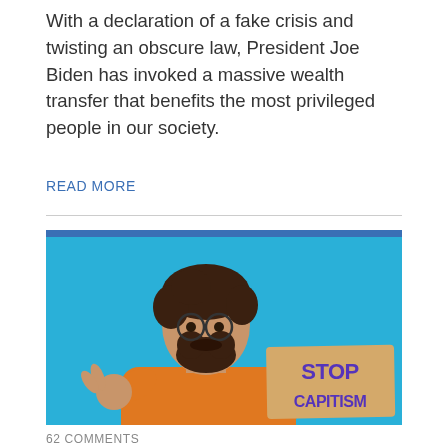With a declaration of a fake crisis and twisting an obscure law, President Joe Biden has invoked a massive wealth transfer that benefits the most privileged people in our society.
READ MORE
[Figure (photo): Man in orange sweater with glasses and beard holding a cardboard sign reading 'STOP CAPITISM' while making an OK gesture, against a cyan/blue background.]
62 COMMENTS